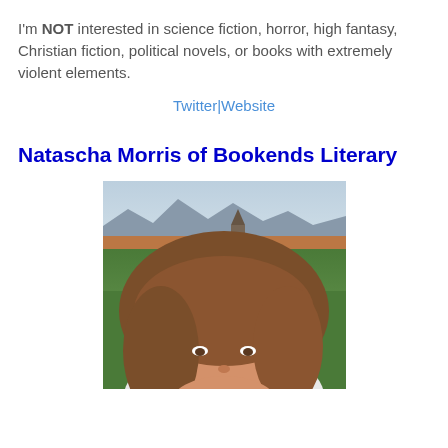I'm NOT interested in science fiction, horror, high fantasy, Christian fiction, political novels, or books with extremely violent elements.
Twitter|Website
Natascha Morris of Bookends Literary
[Figure (photo): Selfie photo of a young woman with long brown hair smiling outdoors, with a European village, green fields, and hills/mountains in the background.]